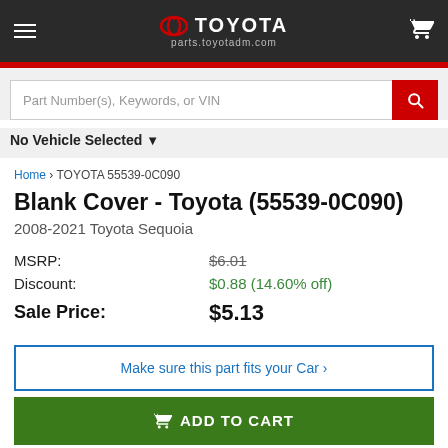TOYOTA parts.toyotadm.com
Part Number(s), Keywords, or VIN
No Vehicle Selected
Home > TOYOTA 55539-0C090
Blank Cover - Toyota (55539-0C090)
2008-2021 Toyota Sequoia
| Label | Value |
| --- | --- |
| MSRP: | $6.01 |
| Discount: | $0.88 (14.60% off) |
| Sale Price: | $5.13 |
Make sure this part fits your Car >
ADD TO CART